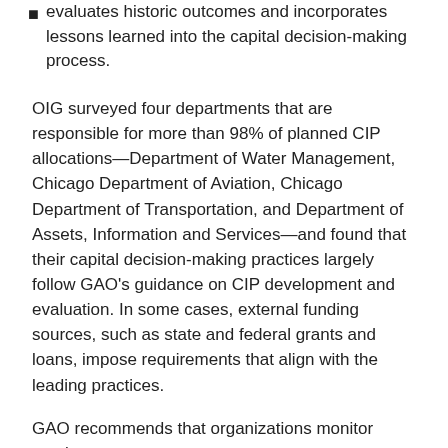evaluates historic outcomes and incorporates lessons learned into the capital decision-making process.
OIG surveyed four departments that are responsible for more than 98% of planned CIP allocations—Department of Water Management, Chicago Department of Aviation, Chicago Department of Transportation, and Department of Assets, Information and Services—and found that their capital decision-making practices largely follow GAO's guidance on CIP development and evaluation. In some cases, external funding sources, such as state and federal grants and loans, impose requirements that align with the leading practices.
GAO recommends that organizations monitor results